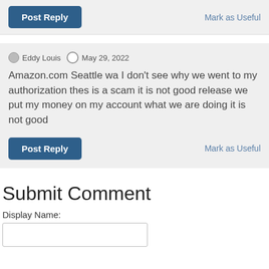Post Reply
Mark as Useful
Eddy Louis   May 29, 2022
Amazon.com Seattle wa I don't see why we went to my authorization thes is a scam it is not good release we put my money on my account what we are doing it is not good
Post Reply
Mark as Useful
Submit Comment
Display Name: